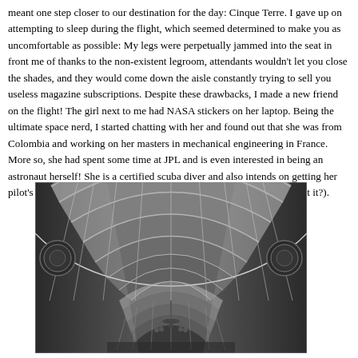meant one step closer to our destination for the day: Cinque Terre. I gave up on attempting to sleep during the flight, which seemed determined to make you as uncomfortable as possible: My legs were perpetually jammed into the seat in front me of thanks to the non-existent legroom, attendants wouldn't let you close the shades, and they would come down the aisle constantly trying to sell you useless magazine subscriptions. Despite these drawbacks, I made a new friend on the flight! The girl next to me had NASA stickers on her laptop. Being the ultimate space nerd, I started chatting with her and found out that she was from Colombia and working on her masters in mechanical engineering in France. More so, she had spent some time at JPL and is even interested in being an astronaut herself! She is a certified scuba diver and also intends on getting her pilot's license. The last half hour of the ride flew by after that (haha, get it?).
[Figure (photo): Interior architectural photograph of a large train station or grand hall, showing an arched glass ceiling with rectangular panes arranged in a fan/barrel vault pattern. The image is in black and white / grayscale. Ornate circular medallions are visible on the side walls. A chandelier hangs in the lower portion of the image. The hall recedes into the distance.]